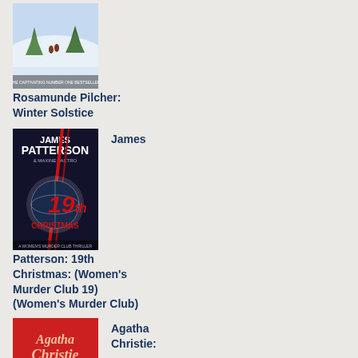[Figure (illustration): Book cover for Winter Solstice by Rosamunde Pilcher - winter outdoor scene with figures in snow]
Rosamunde Pilcher: Winter Solstice
[Figure (illustration): Book cover for 19th Christmas by James Patterson and Maxine Paetro - dark cover with Christmas ornament, red text]
James Patterson: 19th Christmas: (Women's Murder Club 19) (Women's Murder Club)
[Figure (illustration): Book cover for an Agatha Christie novel - red background with cursive Agatha Christie text]
Agatha Christie: